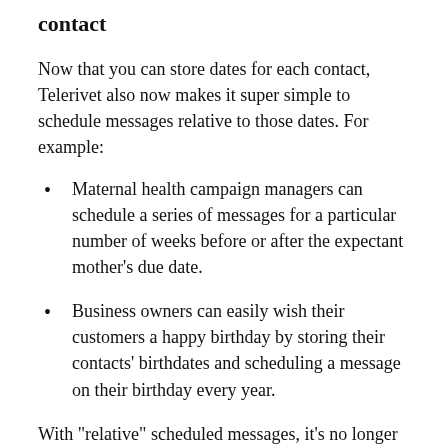contact
Now that you can store dates for each contact, Telerivet also now makes it super simple to schedule messages relative to those dates. For example:
Maternal health campaign managers can schedule a series of messages for a particular number of weeks before or after the expectant mother's due date.
Business owners can easily wish their customers a happy birthday by storing their contacts' birthdates and scheduling a message on their birthday every year.
With "relative" scheduled messages, it's no longer necessary to manually calculate the right time to